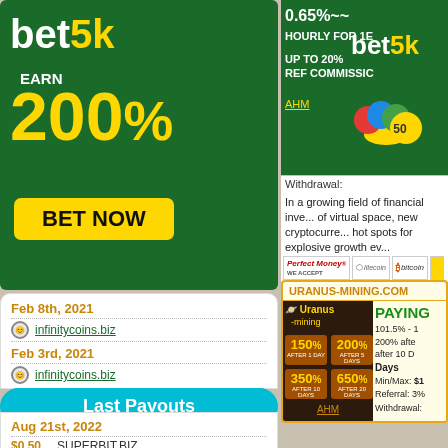[Figure (advertisement): bet5k advertisement: green background, 'bet5k' logo, 'EARN 200%', 'BET NOW' yellow button]
Feb 8th, 2021
infinitycoins.biz
Feb 3rd, 2021
infinitycoins.biz
Last Payouts
Aug 21st, 2022
$0.50   SUPERBIT.BIZ
$0.50   bitprofit.pw
Aug 13th, 2022
$1.10   HOURBEST.BIZ
Aug 3rd, 2022
[Figure (advertisement): bet5k right ad: 0.65%~~ HOURLY FOR 1[N] days, UP TO 20% REF COMMISSION, AHM link, coins graphic showing '50']
Withdrawal:
In a growing field of financial inve... of virtual space, new cryptocurre... hot spots for explosive growth ev...
URANUS-MINING.COM
[Figure (advertisement): Uranus Mining ad: 150% after 1 day, 200% after 5 days, 350% after 10 days, 650% after 20 days, AHM link. PAYING badge. 101.5% - 200% after... after 10 D... Days. Min/Max: $1. Referral: 3%. Withdrawal:]